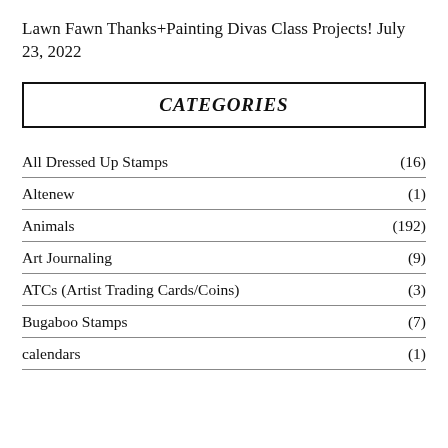Lawn Fawn Thanks+Painting Divas Class Projects! July 23, 2022
CATEGORIES
All Dressed Up Stamps (16)
Altenew (1)
Animals (192)
Art Journaling (9)
ATCs (Artist Trading Cards/Coins) (3)
Bugaboo Stamps (7)
calendars (1)